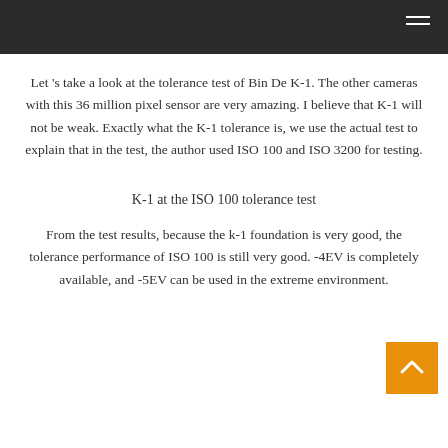Let 's take a look at the tolerance test of Bin De K-1. The other cameras with this 36 million pixel sensor are very amazing. I believe that K-1 will not be weak. Exactly what the K-1 tolerance is, we use the actual test to explain that in the test, the author used ISO 100 and ISO 3200 for testing.
K-1 at the ISO 100 tolerance test
From the test results, because the k-1 foundation is very good, the tolerance performance of ISO 100 is still very good. -4EV is completely available, and -5EV can be used in the extreme environment.